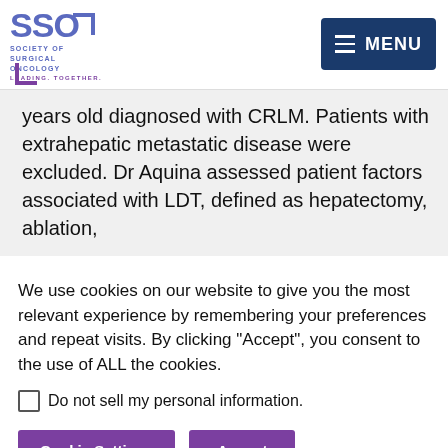[Figure (logo): SSO Society of Surgical Oncology logo with blue letters and bracket marks, tagline LEADING. TOGETHER.]
years old diagnosed with CRLM. Patients with extrahepatic metastatic disease were excluded. Dr Aquina assessed patient factors associated with LDT, defined as hepatectomy, ablation,
We use cookies on our website to give you the most relevant experience by remembering your preferences and repeat visits. By clicking “Accept”, you consent to the use of ALL the cookies.
Do not sell my personal information.
Cookie Settings
Accept